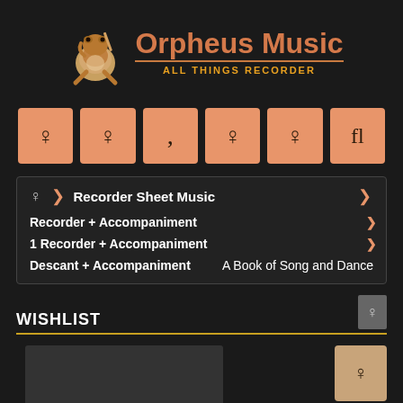[Figure (logo): Orpheus Music logo with frog mascot playing recorder, text 'Orpheus Music' in salmon/orange color, subtitle 'ALL THINGS RECORDER' in gold]
[Figure (other): Row of 6 salmon-colored icon buttons with small symbols/icons inside]
Recorder Sheet Music > Recorder + Accompaniment > 1 Recorder + Accompaniment > Descant + Accompaniment | A Book of Song and Dance
WISHLIST
[Figure (other): Wishlist product image area showing a gray placeholder box and a tan button on the right]